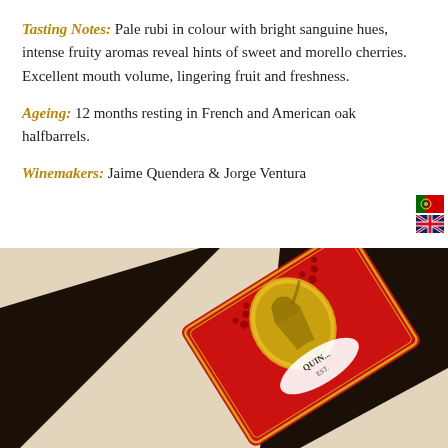Tasting Notes: Pale rubi in colour with bright sanguine hues, intense fruity aromas reveal hints of sweet and morello cherries. Excellent mouth volume, lingering fruit and freshness.
Ageing: 12 months resting in French and American oak halfbarrels.
Winemakers: Jaime Quendera & Jorge Ventura
[Figure (photo): A wine bottle shown at an angle with a red label featuring a classical figure in a medallion, decorative grape motifs, and partial text reading QUIN... EST...]